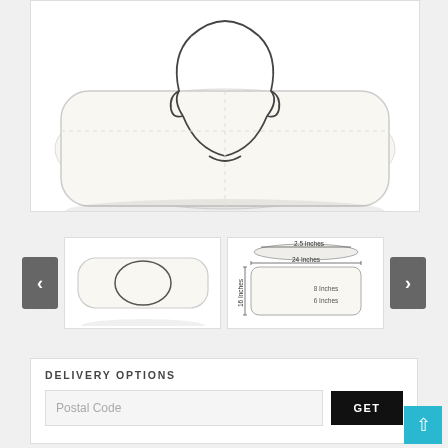[Figure (photo): White pillow with outline drawing of a human head/face centered on it, viewed from above]
[Figure (photo): Small thumbnail of white pillow with oval face outline]
[Figure (engineering-diagram): Pillow dimension diagram showing measurements: 2.5 inches height, 24 inches width, 16 inches length, 8 inches and 6 inches interior zones]
DELIVERY OPTIONS
Postal Code
GET